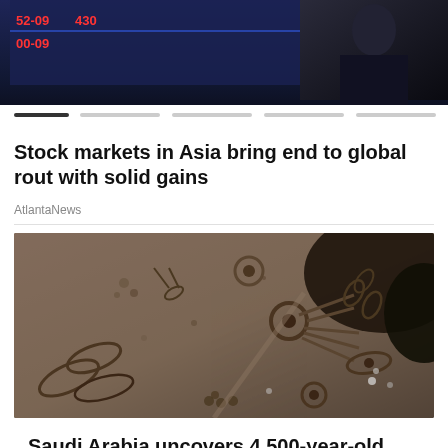[Figure (photo): Stock market ticker board with red and green numbers, a person visible in background, progress/navigation bar at bottom]
Stock markets in Asia bring end to global rout with solid gains
AtlantaNews
[Figure (photo): Aerial photograph of ancient Saudi Arabian desert landscape showing circular and linear archaeological structures resembling a 4,500-year-old highway system]
Saudi Arabia uncovers 4,500-year-old highway,